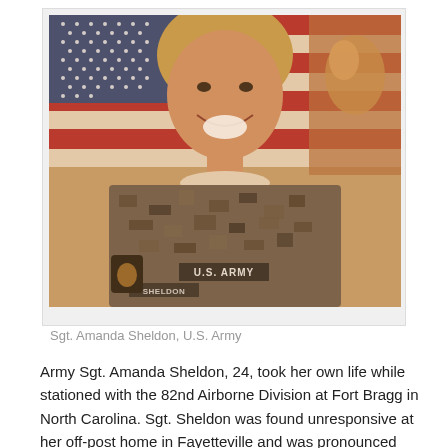[Figure (photo): Photograph of Sgt. Amanda Sheldon in U.S. Army camouflage uniform, smiling in front of an American flag and military insignia banner. The image has a warm, aged tone. The name tag and 'U.S. ARMY' text are visible on the uniform.]
Sgt. Amanda Sheldon, U.S. Army
Army Sgt. Amanda Sheldon, 24, took her own life while stationed with the 82nd Airborne Division at Fort Bragg in North Carolina. Sgt. Sheldon was found unresponsive at her off-post home in Fayetteville and was pronounced dead at the local hospital on October 7, 2010. Sgt.